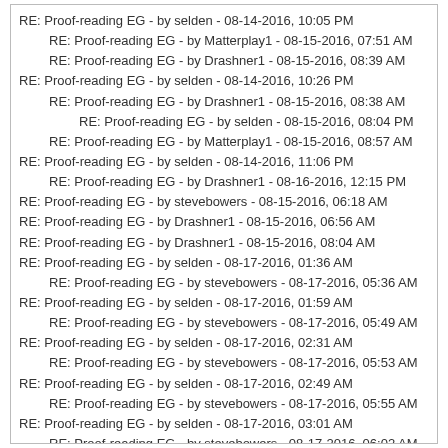RE: Proof-reading EG - by selden - 08-14-2016, 10:05 PM
RE: Proof-reading EG - by Matterplay1 - 08-15-2016, 07:51 AM
RE: Proof-reading EG - by Drashner1 - 08-15-2016, 08:39 AM
RE: Proof-reading EG - by selden - 08-14-2016, 10:26 PM
RE: Proof-reading EG - by Drashner1 - 08-15-2016, 08:38 AM
RE: Proof-reading EG - by selden - 08-15-2016, 08:04 PM
RE: Proof-reading EG - by Matterplay1 - 08-15-2016, 08:57 AM
RE: Proof-reading EG - by selden - 08-14-2016, 11:06 PM
RE: Proof-reading EG - by Drashner1 - 08-16-2016, 12:15 PM
RE: Proof-reading EG - by stevebowers - 08-15-2016, 06:18 AM
RE: Proof-reading EG - by Drashner1 - 08-15-2016, 06:56 AM
RE: Proof-reading EG - by Drashner1 - 08-15-2016, 08:04 AM
RE: Proof-reading EG - by selden - 08-17-2016, 01:36 AM
RE: Proof-reading EG - by stevebowers - 08-17-2016, 05:36 AM
RE: Proof-reading EG - by selden - 08-17-2016, 01:59 AM
RE: Proof-reading EG - by stevebowers - 08-17-2016, 05:49 AM
RE: Proof-reading EG - by selden - 08-17-2016, 02:31 AM
RE: Proof-reading EG - by stevebowers - 08-17-2016, 05:53 AM
RE: Proof-reading EG - by selden - 08-17-2016, 02:49 AM
RE: Proof-reading EG - by stevebowers - 08-17-2016, 05:55 AM
RE: Proof-reading EG - by selden - 08-17-2016, 03:01 AM
RE: Proof-reading EG - by stevebowers - 08-17-2016, 06:02 AM
RE: Proof-reading EG - by Drashner1 - 08-17-2016, 06:25 AM
RE: Proof-reading EG - by Drashner1 - 08-17-2016, 10:09 AM